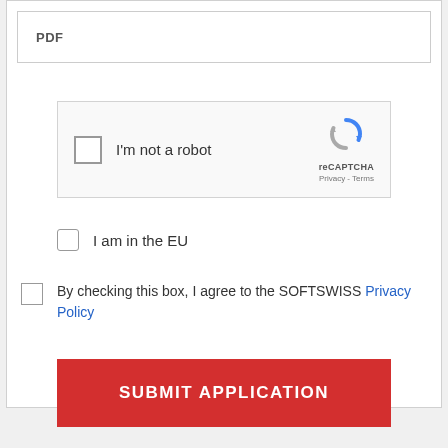PDF
[Figure (screenshot): reCAPTCHA widget with checkbox labeled 'I'm not a robot' and reCAPTCHA logo with Privacy and Terms links]
I am in the EU
By checking this box, I agree to the SOFTSWISS Privacy Policy
SUBMIT APPLICATION